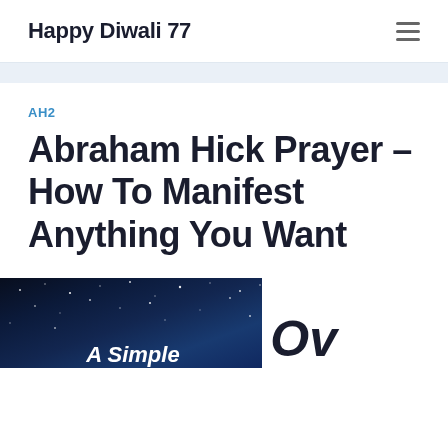Happy Diwali 77
AH2
Abraham Hick Prayer – How To Manifest Anything You Want
[Figure (photo): Dark starry night sky background with white bold italic text reading 'A Simple' at the bottom, and partial large bold italic text 'Ov' on the right side]